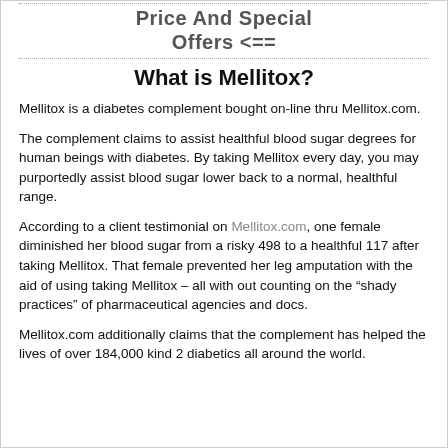Price And Special Offers <==
What is Mellitox?
Mellitox is a diabetes complement bought on-line thru Mellitox.com.
The complement claims to assist healthful blood sugar degrees for human beings with diabetes. By taking Mellitox every day, you may purportedly assist blood sugar lower back to a normal, healthful range.
According to a client testimonial on Mellitox.com, one female diminished her blood sugar from a risky 498 to a healthful 117 after taking Mellitox. That female prevented her leg amputation with the aid of using taking Mellitox – all with out counting on the “shady practices” of pharmaceutical agencies and docs.
Mellitox.com additionally claims that the complement has helped the lives of over 184,000 kind 2 diabetics all around the world.